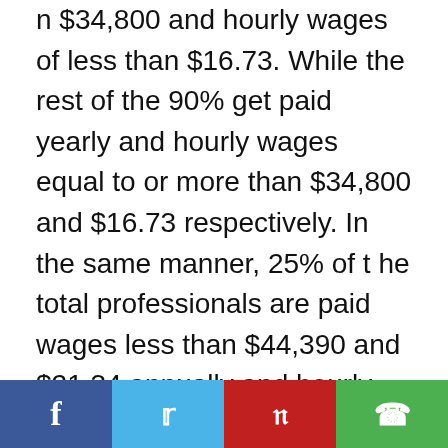...while 10% are paid an annual salary of less than $34,800 and hourly wages of less than $16.73. While the rest of the 90% get paid yearly and hourly wages equal to or more than $34,800 and $16.73 respectively. In the same manner, 25% of the total professionals are paid wages less than $44,390 and $21.34 annually and hourly, while rest of the 75% are paid salary equal to or more than that.

Also, 50% of Fire Marshals take home annual and hourly wages less than $59,260 and $28.49 respectively while the remaining 50% are paid wage
[Figure (other): Social sharing bar with Facebook, Twitter, Pinterest, and WhatsApp buttons]